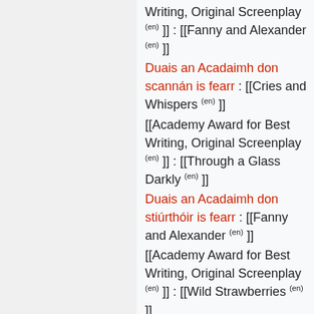Writing, Original Screenplay (en) ]] : [[Fanny and Alexander (en) ]]
Duais an Acadaimh don scannán is fearr : [[Cries and Whispers (en) ]]
[[Academy Award for Best Writing, Original Screenplay (en) ]] : [[Through a Glass Darkly (en) ]]
Duais an Acadaimh don stiúrthóir is fearr : [[Fanny and Alexander (en) ]]
[[Academy Award for Best Writing, Original Screenplay (en) ]] : [[Wild Strawberries (en) ]]
Duais an Acadaimh don stiúrthóir is fearr : [[Face to